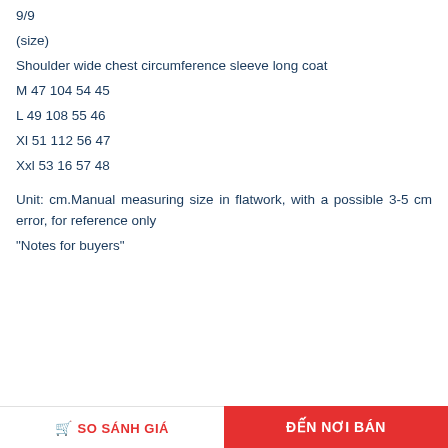9/9
(size)
Shoulder wide chest circumference sleeve long coat
M 47 104 54 45
L 49 108 55 46
Xl 51 112 56 47
Xxl 53 16 57 48
Unit: cm.Manual measuring size in flatwork, with a possible 3-5 cm error, for reference only
"Notes for buyers"
SO SÁNH GIÁ   ĐẾN NƠI BÁN